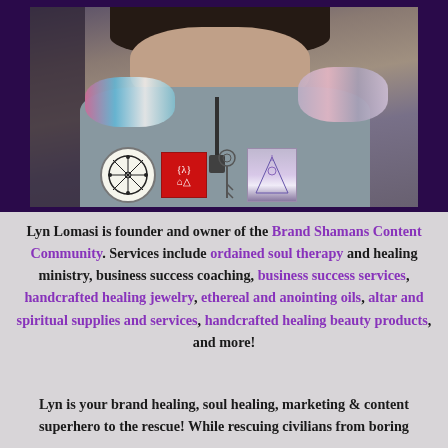[Figure (photo): Photo of Lyn Lomasi wearing bracelets and a necklace, with mystical/spiritual symbol icons overlaid at the bottom of the image including a circle with crossed arrows symbol, a red square with symbols, and a purple triangular/mystical illustration]
Lyn Lomasi is founder and owner of the Brand Shamans Content Community. Services include ordained soul therapy and healing ministry, business success coaching, business success services, handcrafted healing jewelry, ethereal and anointing oils, altar and spiritual supplies and services, handcrafted healing beauty products, and more!
Lyn is your brand healing, soul healing, marketing & content superhero to the rescue! While rescuing civilians from boring